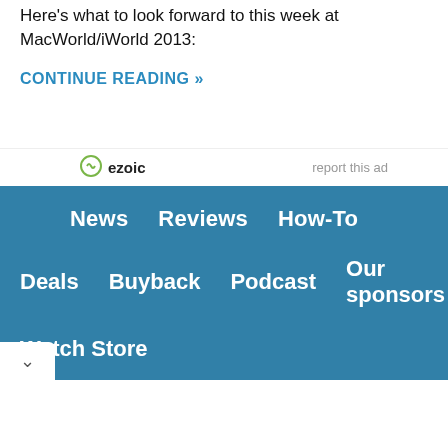Here's what to look forward to this week at MacWorld/iWorld 2013:
CONTINUE READING »
[Figure (logo): Ezoic logo with circular icon and text 'ezoic', with 'report this ad' link on the right]
News
Reviews
How-To
Deals
Buyback
Podcast
Our sponsors
Watch Store